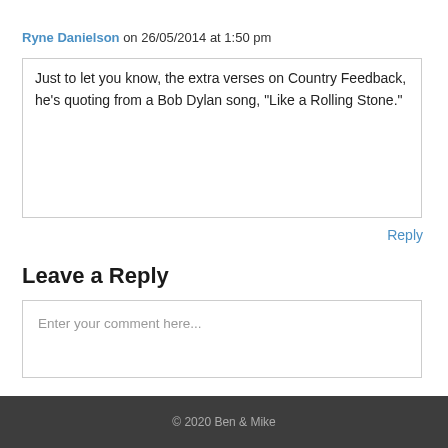Ryne Danielson on 26/05/2014 at 1:50 pm
Just to let you know, the extra verses on Country Feedback, he’s quoting from a Bob Dylan song, “Like a Rolling Stone.”
Reply
Leave a Reply
Enter your comment here...
© 2020 Ben & Mike